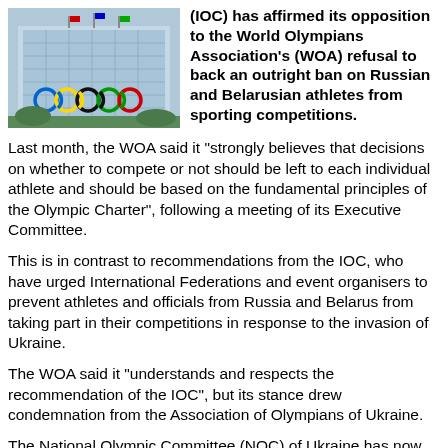[Figure (photo): Photo of the IOC building with Olympic rings visible, a modern glass structure with the five-ring Olympic logo on display.]
(IOC) has affirmed its opposition to the World Olympians Association's (WOA) refusal to back an outright ban on Russian and Belarusian athletes from sporting competitions.
Last month, the WOA said it "strongly believes that decisions on whether to compete or not should be left to each individual athlete and should be based on the fundamental principles of the Olympic Charter", following a meeting of its Executive Committee.
This is in contrast to recommendations from the IOC, who have urged International Federations and event organisers to prevent athletes and officials from Russia and Belarus from taking part in their competitions in response to the invasion of Ukraine.
The WOA said it "understands and respects the recommendation of the IOC", but its stance drew condemnation from the Association of Olympians of Ukraine.
The National Olympic Committee (NOC) of Ukraine has now published a letter from the IOC in which the organisation distanced itself from the position of the WOA.
"Thank you very much for sharing your views on the statement of